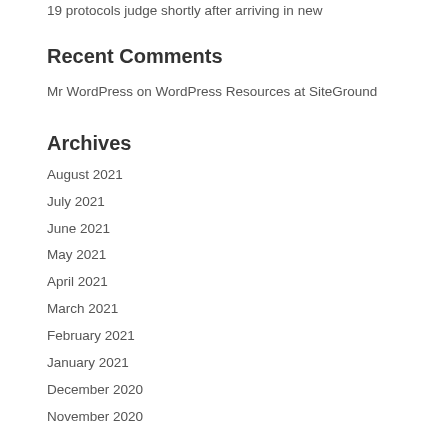19 protocols judge shortly after arriving in new
Recent Comments
Mr WordPress on WordPress Resources at SiteGround
Archives
August 2021
July 2021
June 2021
May 2021
April 2021
March 2021
February 2021
January 2021
December 2020
November 2020